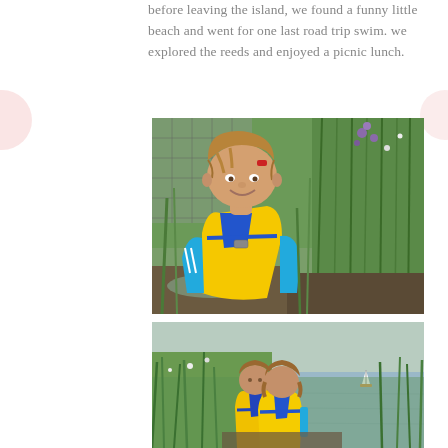before leaving the island, we found a funny little beach and went for one last road trip swim. we explored the reeds and enjoyed a picnic lunch.
[Figure (photo): A young child smiling, wearing a yellow and blue life jacket, standing among tall green reeds and grasses near water.]
[Figure (photo): Two young children wearing yellow life jackets standing together among tall green reeds looking out at a calm body of water.]